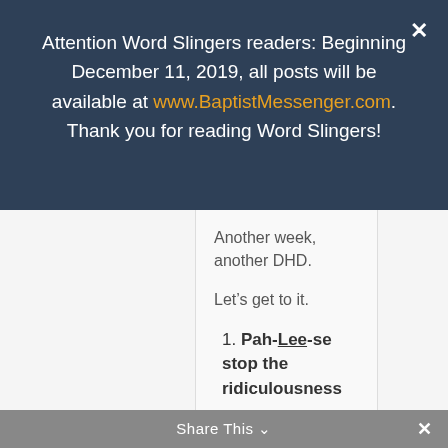Attention Word Slingers readers: Beginning December 11, 2019, all posts will be available at www.BaptistMessenger.com. Thank you for reading Word Slingers!
Another week, another DHD.
Let’s get to it.
1. Pah-Lee-se stop the ridiculousness
ESPN reassigned a game announcer who was previously scheduled to
Share This